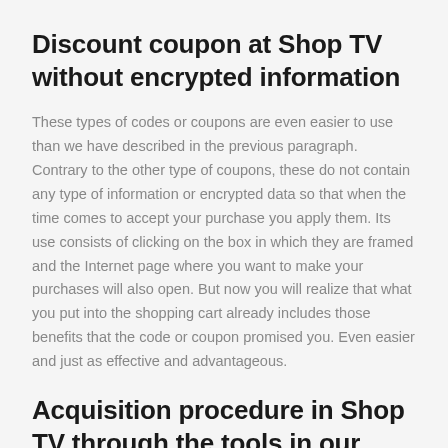Discount coupon at Shop TV without encrypted information
These types of codes or coupons are even easier to use than we have described in the previous paragraph. Contrary to the other type of coupons, these do not contain any type of information or encrypted data so that when the time comes to accept your purchase you apply them. Its use consists of clicking on the box in which they are framed and the Internet page where you want to make your purchases will also open. But now you will realize that what you put into the shopping cart already includes those benefits that the code or coupon promised you. Even easier and just as effective and advantageous.
Acquisition procedure in Shop TV through the tools in our section